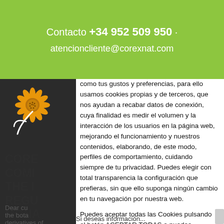Contacto +34 952 509 950 · atencioncliente@corexnat.com
[Figure (logo): Sunflower logo on dark background]
CORE
COMI
THE I
REGU
MONA
Dear cu... the bota... derivatives of hydroxyanthracene, the
como tus gustos y preferencias, para ello usamos cookies propias y de terceros, que nos ayudan a recabar datos de conexión, cuya finalidad es medir el volumen y la interacción de los usuarios en la página web, mejorando el funcionamiento y nuestros contenidos, elaborando, de este modo, perfiles de comportamiento, cuidando siempre de tu privacidad. Puedes elegir con total transparencia la configuración que prefieras, sin que ello suponga ningún cambio en tu navegación por nuestra web.
Puedes aceptar todas las Cookies pulsando el botón ACEPTAR TODAS o puedes configurarlas o rechazarlas.
Si deseas información...